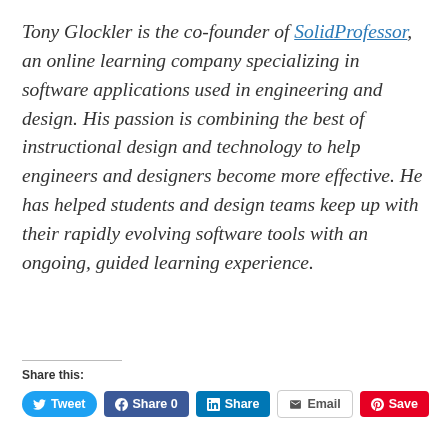Tony Glockler is the co-founder of SolidProfessor, an online learning company specializing in software applications used in engineering and design. His passion is combining the best of instructional design and technology to help engineers and designers become more effective. He has helped students and design teams keep up with their rapidly evolving software tools with an ongoing, guided learning experience.
Share this: